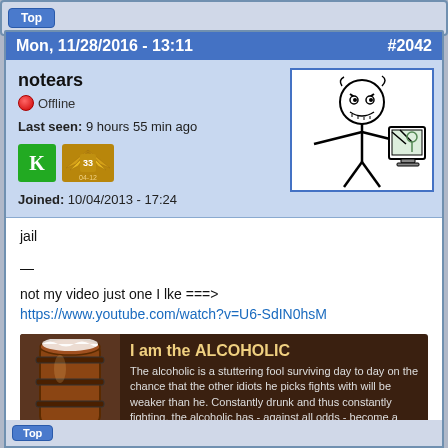Top
Mon, 11/28/2016 - 13:11   #2042
notears
Offline
Last seen: 9 hours 55 min ago
Joined: 10/04/2013 - 17:24
[Figure (illustration): Stick figure rage comic meme avatar with angry expression, punching a monitor/screen]
jail

—

not my video just one I lke ===>
https://www.youtube.com/watch?v=U6-SdIN0hsM
[Figure (illustration): Dark-themed banner image showing a wooden beer barrel with text: I am the ALCOHOLIC. The alcoholic is a stuttering fool surviving day to day on the chance that the other idiots he picks fights with will be weaker than he. Constantly drunk and thus constantly fighting, the alcoholic has - against all odds - become a fighter capable of tremendous feats. He values good ale above all else!]
Top